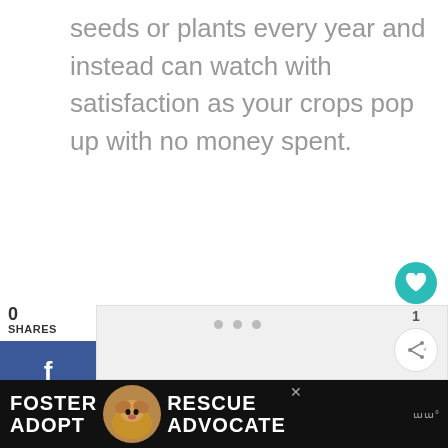seeds or plants every year and instead can watch with satisfaction as your crops pop up with no money spent.
[Figure (infographic): Social share widget showing 0 shares with Facebook (blue), Twitter (light blue), and Pinterest (red) buttons on the left side]
[Figure (infographic): Advertisement banner at bottom showing FOSTER ADOPT RESCUE ADVOCATE text with dog image on dark background]